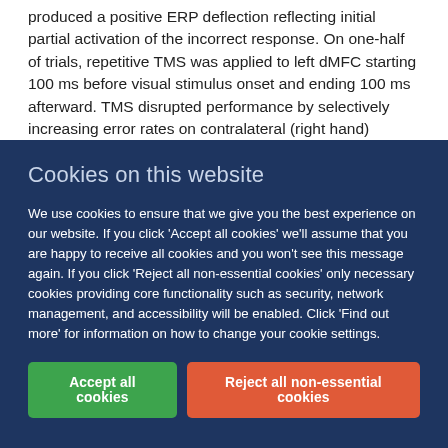produced a positive ERP deflection reflecting initial partial activation of the incorrect response. On one-half of trials, repetitive TMS was applied to left dMFC starting 100 ms before visual stimulus onset and ending 100 ms afterward. TMS disrupted performance by selectively increasing error rates on contralateral (right hand) incongruent trials. TMS also
Cookies on this website
We use cookies to ensure that we give you the best experience on our website. If you click 'Accept all cookies' we'll assume that you are happy to receive all cookies and you won't see this message again. If you click 'Reject all non-essential cookies' only necessary cookies providing core functionality such as security, network management, and accessibility will be enabled. Click 'Find out more' for information on how to change your cookie settings.
Accept all cookies
Reject all non-essential cookies